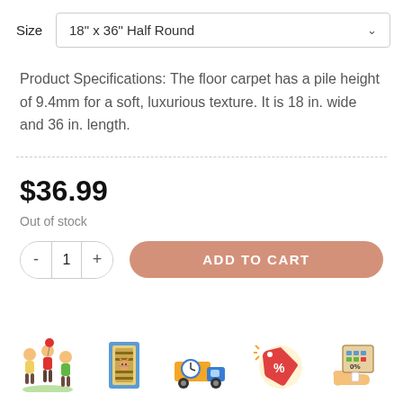Size  18" x 36" Half Round
Product Specifications: The floor carpet has a pile height of 9.4mm for a soft, luxurious texture. It is 18 in. wide and 36 in. length.
$36.99
Out of stock
[Figure (screenshot): Quantity selector showing minus button, 1, plus button, and an Add to Cart button in muted salmon/peach color]
[Figure (illustration): Row of 5 small icons: children playing, a rug with a cat, a delivery truck with clock, a sale tag with percent, and a hand holding a receipt]